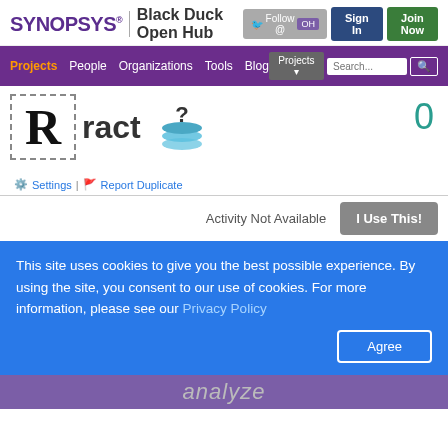SYNOPSYS® | Black Duck Open Hub
[Figure (screenshot): Synopsys Black Duck Open Hub website screenshot showing navigation bar with Projects, People, Organizations, Tools, Blog links and search box]
Rract
Settings | Report Duplicate
0
Activity Not Available
I Use This!
This site uses cookies to give you the best possible experience. By using the site, you consent to our use of cookies. For more information, please see our Privacy Policy
Agree
analyze